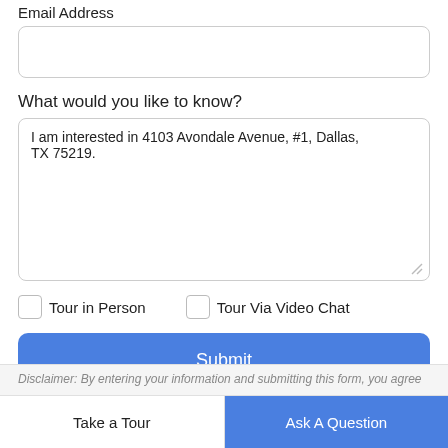Email Address
What would you like to know?
I am interested in 4103 Avondale Avenue, #1, Dallas, TX 75219.
Tour in Person
Tour Via Video Chat
Submit
Disclaimer: By entering your information and submitting this form, you agree
Take a Tour
Ask A Question